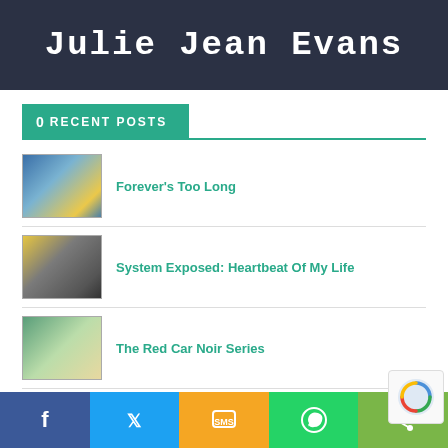[Figure (screenshot): Banner with dark navy background and white typewriter-font text reading 'Julie Jean Evans']
0 RECENT POSTS
Forever's Too Long
System Exposed: Heartbeat Of My Life
The Red Car Noir Series
Journey Well, You Are More Than Enough, (RE)Discover Your Purpose & Love of Yourself & Life
[Figure (screenshot): Bottom social sharing bar with Facebook, Twitter, SMS, WhatsApp, and generic share buttons]